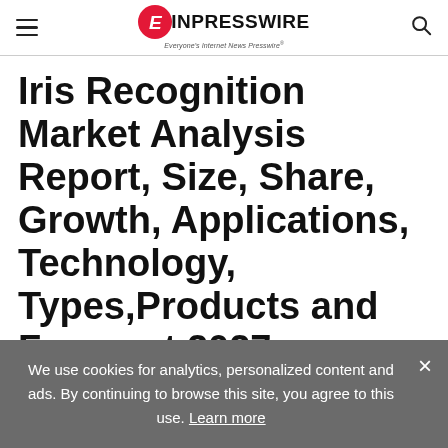EIN PRESSWIRE — Everyone's Internet News Presswire
Iris Recognition Market Analysis Report, Size, Share, Growth, Applications, Technology, Types,Products and Forecast 2027
We use cookies for analytics, personalized content and ads. By continuing to browse this site, you agree to this use. Learn more